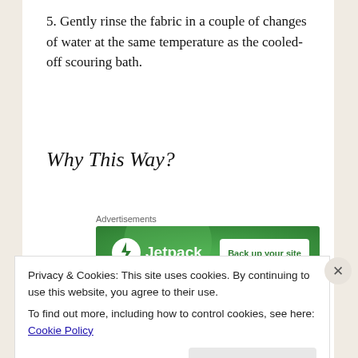5. Gently rinse the fabric in a couple of changes of water at the same temperature as the cooled-off scouring bath.
Why This Way?
[Figure (other): Jetpack advertisement banner with green background showing Jetpack logo and 'Back up your site' button]
*Detergents: Protein fibers are slightly acidic
Privacy & Cookies: This site uses cookies. By continuing to use this website, you agree to their use.
To find out more, including how to control cookies, see here: Cookie Policy
Close and accept